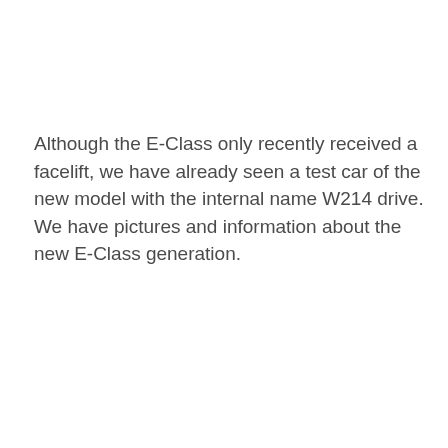Although the E-Class only recently received a facelift, we have already seen a test car of the new model with the internal name W214 drive. We have pictures and information about the new E-Class generation.